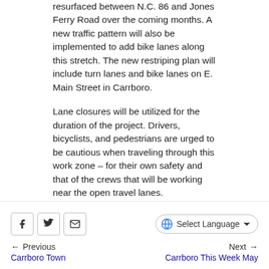resurfaced between N.C. 86 and Jones Ferry Road over the coming months. A new traffic pattern will also be implemented to add bike lanes along this stretch. The new restriping plan will include turn lanes and bike lanes on E. Main Street in Carrboro.
Lane closures will be utilized for the duration of the project. Drivers, bicyclists, and pedestrians are urged to be cautious when traveling through this work zone – for their own safety and that of the crews that will be working near the open travel lanes.
Learn more about the project at https://www.carrboronc.gov/2368/East-Main-Street-Restriping
Social share buttons, Select Language dropdown, Previous: Carrboro Town, Next: Carrboro This Week May